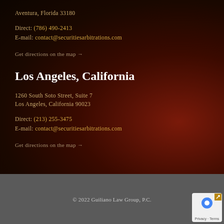Aventura, Florida 33180
Direct: (786) 490-2413
E-mail: contact@securitiesarbitrations.com
Get directions on the map →
Los Angeles, California
1260 South Soto Street, Suite 7
Los Angeles, California 90023
Direct: (213) 255-3475
E-mail: contact@securitiesarbitrations.com
Get directions on the map →
© 2022 Guiliano Law Group, P.C.